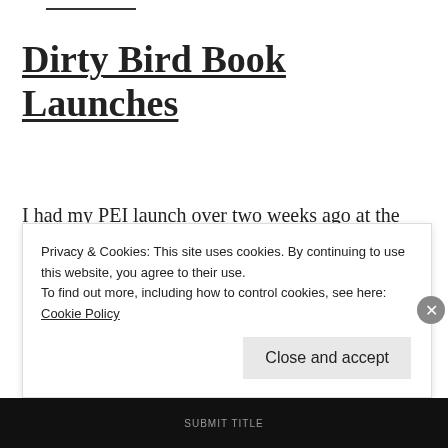Dirty Bird Book Launches
I had my PEI launch over two weeks ago at the Arts Guild. For those of you who wanted to make it but couldn't attend (and I am sure you number in the thousands) here is a summary of how the night went. Launch was at 7:00. I
Privacy & Cookies: This site uses cookies. By continuing to use this website, you agree to their use.
To find out more, including how to control cookies, see here: Cookie Policy
Close and accept